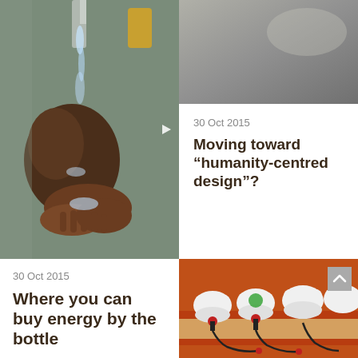[Figure (photo): Child drinking water from a tap/pipe stream, hands cupped, close-up shot in what appears to be a developing country setting]
[Figure (photo): Dark grey/brown blurred background — partial photo, top right panel]
30 Oct 2015
Moving toward “humanity-centred design”?
30 Oct 2015
Where you can buy energy by the bottle
[Figure (photo): White bottled portable energy/solar lanterns with red connectors on an orange metal shelf with cables, product display shot]